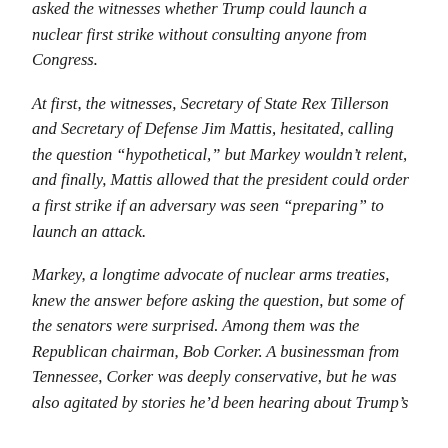asked the witnesses whether Trump could launch a nuclear first strike without consulting anyone from Congress.
At first, the witnesses, Secretary of State Rex Tillerson and Secretary of Defense Jim Mattis, hesitated, calling the question "hypothetical," but Markey wouldn't relent, and finally, Mattis allowed that the president could order a first strike if an adversary was seen "preparing" to launch an attack.
Markey, a longtime advocate of nuclear arms treaties, knew the answer before asking the question, but some of the senators were surprised. Among them was the Republican chairman, Bob Corker. A businessman from Tennessee, Corker was deeply conservative, but he was also agitated by stories he'd been hearing about Trump's